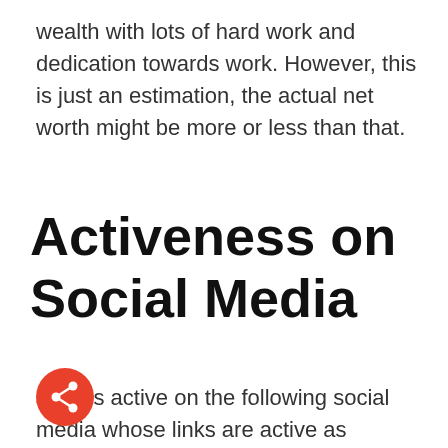wealth with lots of hard work and dedication towards work. However, this is just an estimation, the actual net worth might be more or less than that.
Activeness on Social Media
Jake is active on the following social media whose links are active as instagram, twitter, imdb, wikipedia, tiktok, and on other platforms.
More Actor
[Figure (other): Red circular share button with white share icon]